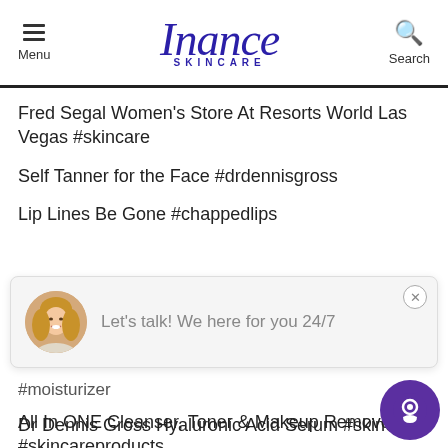Inance Skincare — Menu | Search
Fred Segal Women's Store At Resorts World Las Vegas #skincare
Self Tanner for the Face #drdennisgross
Lip Lines Be Gone #chappedlips
[Figure (screenshot): Chat popup widget showing a woman's avatar photo and text 'Let’s talk! We here for you 24/7' with a close button]
#moisturizer
All In ONE Cleanser, Toner & Makeup Remover #skincareproducts
Dr Dennis Gross Hyaluronic Acid Serum #skinc…
Dr Dennis Gross Daily Facial Peel [partial]